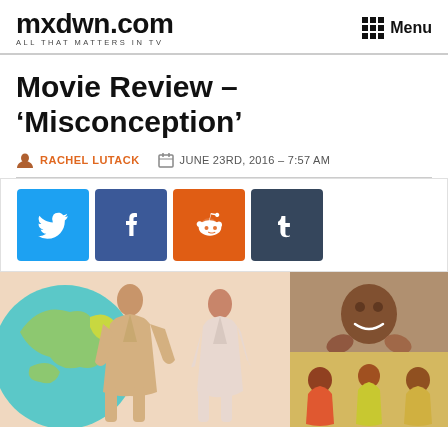mxdwn.com ALL THAT MATTERS IN TV | Menu
Movie Review – 'Misconception'
RACHEL LUTACK  JUNE 23RD, 2016 – 7:57 AM
[Figure (infographic): Social sharing buttons: Twitter (blue bird), Facebook (blue f), Reddit (orange alien), Tumblr (dark blue t)]
[Figure (photo): Left: Two people (man and woman) standing in front of a large globe illustration. Right: A smiling child being held by hands, and a group of children below.]